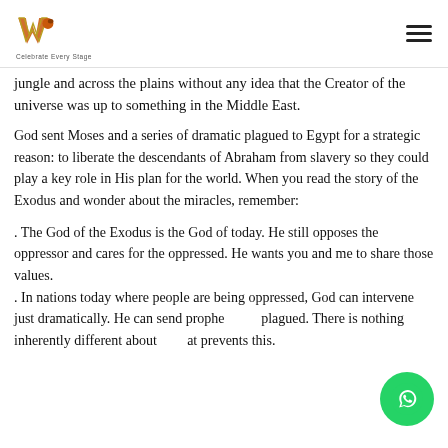Warrior logo and navigation header
jungle and across the plains without any idea that the Creator of the universe was up to something in the Middle East.
God sent Moses and a series of dramatic plagued to Egypt for a strategic reason: to liberate the descendants of Abraham from slavery so they could play a key role in His plan for the world. When you read the story of the Exodus and wonder about the miracles, remember:
. The God of the Exodus is the God of today. He still opposes the oppressor and cares for the oppressed. He wants you and me to share those values.
. In nations today where people are being oppressed, God can intervene just dramatically. He can send prophets and plagued. There is nothing inherently different about us that prevents this.